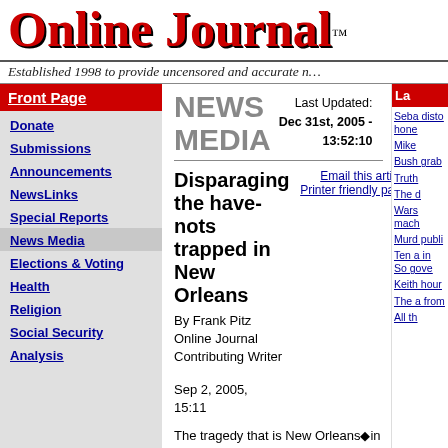Online Journal™
Established 1998 to provide uncensored and accurate n…
Front Page
Donate
Submissions
Announcements
NewsLinks
Special Reports
News Media
Elections & Voting
Health
Religion
Social Security
Analysis
NEWS MEDIA
Last Updated: Dec 31st, 2005 - 13:52:10
Disparaging the have-nots trapped in New Orleans
Email this article
Printer friendly page
By Frank Pitz
Online Journal
Contributing Writer
Sep 2, 2005, 15:11
The tragedy that is New Orleans—in addition to the devastation of a…